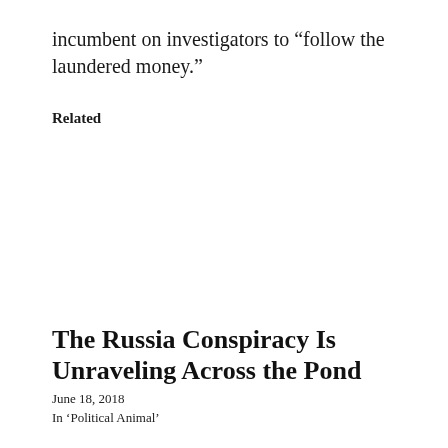incumbent on investigators to “follow the laundered money.”
Related
The Russia Conspiracy Is Unraveling Across the Pond
June 18, 2018
In ‘Political Animal’